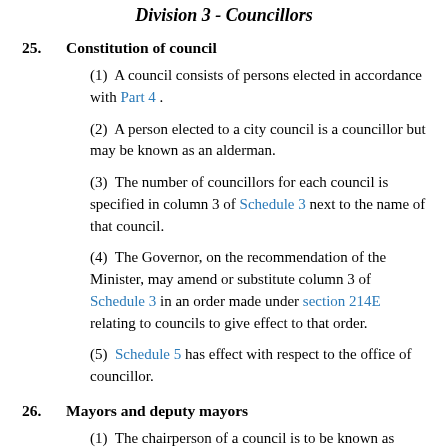Division 3 - Councillors
25.   Constitution of council
(1)  A council consists of persons elected in accordance with Part 4 .
(2)  A person elected to a city council is a councillor but may be known as an alderman.
(3)  The number of councillors for each council is specified in column 3 of Schedule 3 next to the name of that council.
(4)  The Governor, on the recommendation of the Minister, may amend or substitute column 3 of Schedule 3 in an order made under section 214E relating to councils to give effect to that order.
(5)  Schedule 5 has effect with respect to the office of councillor.
26.   Mayors and deputy mayors
(1)  The chairperson of a council is to be known as